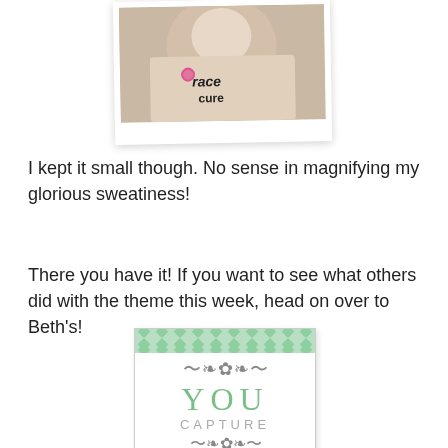[Figure (photo): Polaroid-style photo of a person wearing a white 'Race for the Cure' t-shirt with a pink ribbon logo]
I kept it small though. No sense in magnifying my glorious sweatiness!
There you have it! If you want to see what others did with the theme this week, head on over to Beth's!
[Figure (logo): You Capture logo with green decorative pattern header, scrollwork, large 'YOU' text in green and 'CAPTURE' in gray]